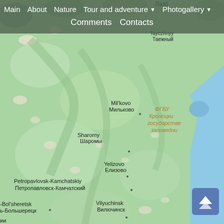[Figure (map): Google Maps screenshot showing the Kamchatka Peninsula region of Russia. The map displays green terrain with settlements labeled in both English and Russian: Лазо (top), Tayezhnyy/Таежный, Mil'kovo/Мильково, Sharomy/Шаромы, Yelizovo/Елизово, Petropavlovsk-Kamchatskiy/Петропавловск-Камчатский, Bol'sheretsk/Большерецк, Vilyuchinsk/Вилючинск. The right side shows blue Pacific Ocean coastline. Upper right has italic text: ФГБУ Кроноцкий государственный заповедни...]
Main  About  Nature  Tour and adventure ▼  Photogallery ▼  Comments  Contacts